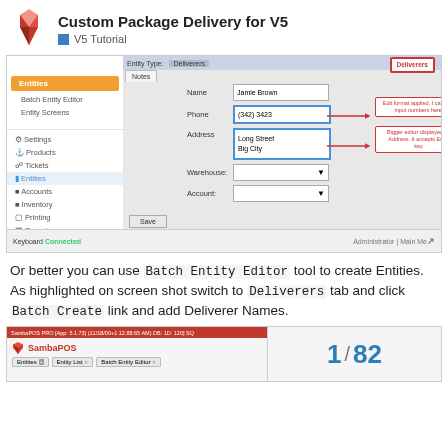Custom Package Delivery for V5 — V5 Tutorial
[Figure (screenshot): SambaPOS application screenshot showing Entities screen with a form for entity details (Name: Jamie Brown, Phone: (342) 3423, Address: Long Street / Big City, Warehouse and Account dropdowns). Annotations in red indicate 'Edit format applied. I can only input numbers here.' for Phone field, and 'Bigger editor displayed for Address. It accepts Enter key.' for Address field. A red-bordered box shows 'Deliverers' tab highlighted. Notes tab and sidebar with menu items visible. Save button at bottom. Status bar shows Keyboard Connected and Administrator | Main Menu.]
Or better you can use Batch Entity Editor tool to create Entities. As highlighted on screen shot switch to Deliverers tab and click Batch Create link and add Deliverer Names.
[Figure (screenshot): Bottom portion of SambaPOS PRO screenshot showing Entities section with Entity List tab and Batch Entity Editor tab open. Page number 1/82 shown on right side in blue.]